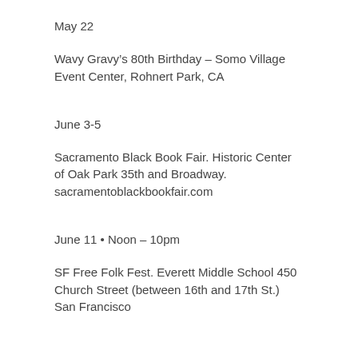May 22
Wavy Gravy’s 80th Birthday – Somo Village Event Center, Rohnert Park, CA
June 3-5
Sacramento Black Book Fair. Historic Center of Oak Park 35th and Broadway. sacramentoblackbookfair.com
June 11 • Noon – 10pm
SF Free Folk Fest. Everett Middle School 450 Church Street (between 16th and 17th St.) San Francisco